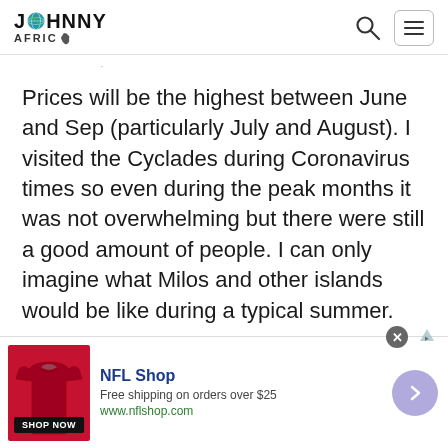JOHNNY AFRICA
Prices will be the highest between June and Sep (particularly July and August). I visited the Cyclades during Coronavirus times so even during the peak months it was not overwhelming but there were still a good amount of people. I can only imagine what Milos and other islands would be like during a typical summer.
[Figure (infographic): NFL Shop advertisement banner with red jersey image, 'NFL Shop' title in blue, 'Free shipping on orders over $25', 'www.nflshop.com', 'SHOP NOW' button, navigation arrow, and close button]